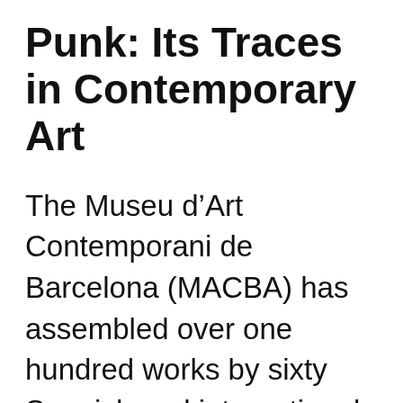Punk: Its Traces in Contemporary Art
The Museu d’Art Contemporani de Barcelona (MACBA) has assembled over one hundred works by sixty Spanish and international artists in an exhibition that explores Punk’s influence in art over the past 40 years. Curated by David G. Torres, works include paintings, installations, photographs, videos, documentary footage and unique